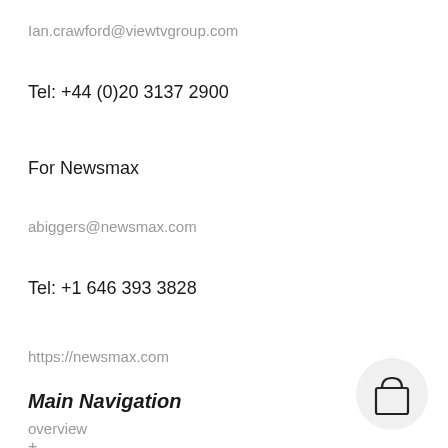Ian.crawford@viewtvgroup.com
Tel: +44 (0)20 3137 2900
For Newsmax
abiggers@newsmax.com
Tel: +1 646 393 3828
https://newsmax.com
Main Navigation
overview
+
[Figure (illustration): Shopping bag / cart icon inside a light gray circle]